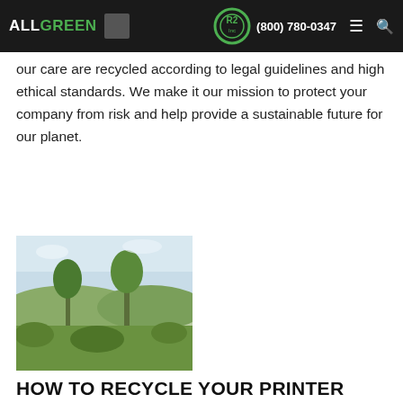ALL GREEN | R2 Inc | (800) 780-0347
government guidelines go above and beyond minimal requirements. Ensuring all items entrusted to our care are recycled according to legal guidelines and high ethical standards. We make it our mission to protect your company from risk and help provide a sustainable future for our planet.
[Figure (photo): Outdoor nature scene showing green trees and landscape with sky]
HOW TO RECYCLE YOUR PRINTER
Used printers and printer cartridges have a major impact on landfill space and the environment. More than 350 million used printer cartridges end up in landfills every year. A woeful 70% of printer cartridges